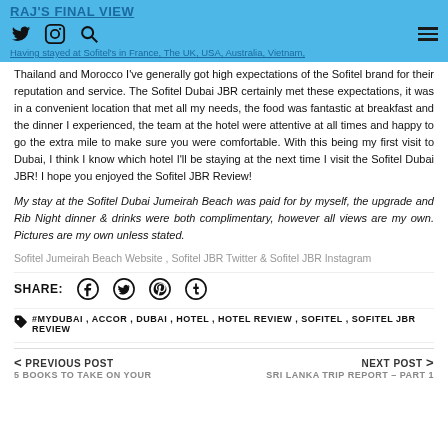RAJ'S FINAL VIEW
Having stayed at Sofitel's in France, The UK, USA, Australia, Vietnam,
Thailand and Morocco I've generally got high expectations of the Sofitel brand for their reputation and service. The Sofitel Dubai JBR certainly met these expectations, it was in a convenient location that met all my needs, the food was fantastic at breakfast and the dinner I experienced, the team at the hotel were attentive at all times and happy to go the extra mile to make sure you were comfortable. With this being my first visit to Dubai, I think I know which hotel I'll be staying at the next time I visit the Sofitel Dubai JBR! I hope you enjoyed the Sofitel JBR Review!
My stay at the Sofitel Dubai Jumeirah Beach was paid for by myself, the upgrade and Rib Night dinner & drinks were both complimentary, however all views are my own. Pictures are my own unless stated.
Sofitel Jumeirah Beach Website , Sofitel JBR Twitter & Sofitel JBR Instagram
SHARE:
#MYDUBAI , ACCOR , DUBAI , HOTEL , HOTEL REVIEW , SOFITEL , SOFITEL JBR REVIEW
< PREVIOUS POST
5 BOOKS TO TAKE ON YOUR
NEXT POST >
SRI LANKA TRIP REPORT – PART 1